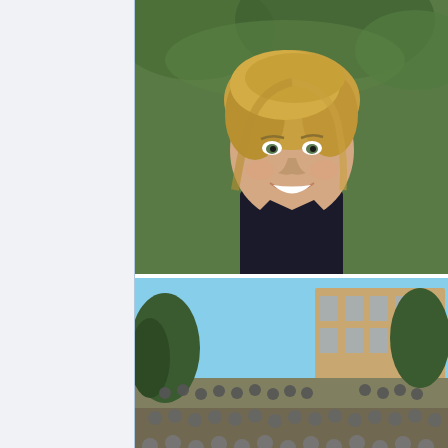[Figure (photo): Portrait photo of a blonde woman smiling outdoors with green foliage background]
[Figure (photo): Large group photo of many people gathered outdoors on steps in front of a building]
[Figure (photo): Photo of two women in an office/meeting room setting, one holding a microphone]
Console (1)  Queries (251)  Debug log (171)  Request  PHP includes (173)  Profile  MediaWiki: 1.24.1  PHP: 5.6.40  Time: 0.33381  Memory: 20.3 MB (Peak: 20.4 MB)